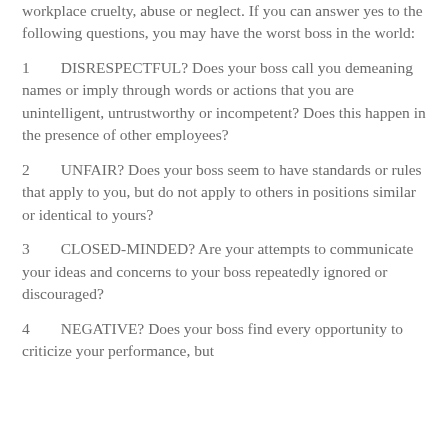workplace cruelty, abuse or neglect. If you can answer yes to the following questions, you may have the worst boss in the world:
1   DISRESPECTFUL? Does your boss call you demeaning names or imply through words or actions that you are unintelligent, untrustworthy or incompetent? Does this happen in the presence of other employees?
2   UNFAIR? Does your boss seem to have standards or rules that apply to you, but do not apply to others in positions similar or identical to yours?
3   CLOSED-MINDED? Are your attempts to communicate your ideas and concerns to your boss repeatedly ignored or discouraged?
4   NEGATIVE? Does your boss find every opportunity to criticize your performance, but